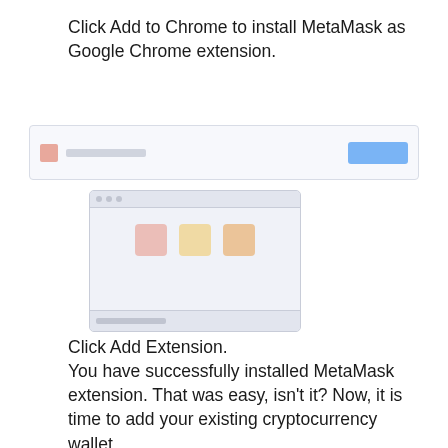Click Add to Chrome to install MetaMask as Google Chrome extension.
[Figure (screenshot): Faint screenshot showing a Chrome extension installation dialog with MetaMask icons and an 'Add to Chrome' button, plus a nested modal with MetaMask extension UI icons.]
Click Add Extension.
You have successfully installed MetaMask extension. That was easy, isn't it? Now, it is time to add your existing cryptocurrency wallet.
If you don't have a wallet yet, you can create one straight away.